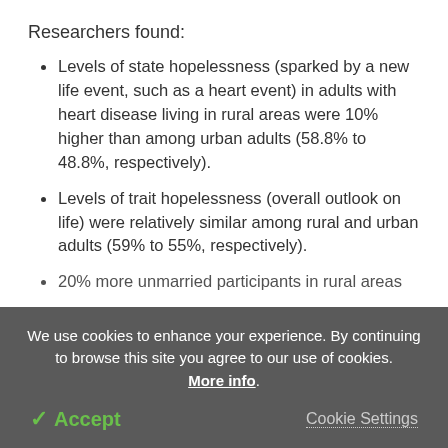Researchers found:
Levels of state hopelessness (sparked by a new life event, such as a heart event) in adults with heart disease living in rural areas were 10% higher than among urban adults (58.8% to 48.8%, respectively).
Levels of trait hopelessness (overall outlook on life) were relatively similar among rural and urban adults (59% to 55%, respectively).
20% more unmarried participants in rural areas
We use cookies to enhance your experience. By continuing to browse this site you agree to our use of cookies. More info.
✓ Accept
Cookie Settings